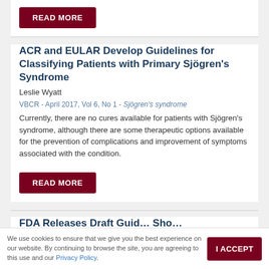[Figure (other): READ MORE button (dark red/maroon button with white uppercase text)]
ACR and EULAR Develop Guidelines for Classifying Patients with Primary Sjögren's Syndrome
Leslie Wyatt
VBCR - April 2017, Vol 6, No 1 - Sjögren's syndrome
Currently, there are no cures available for patients with Sjögren's syndrome, although there are some therapeutic options available for the prevention of complications and improvement of symptoms associated with the condition.
[Figure (other): READ MORE button (dark red/maroon button with white uppercase text)]
FDA Releases Draft Guid... (partially visible title)
We use cookies to ensure that we give you the best experience on our website. By continuing to browse the site, you are agreeing to this use and our Privacy Policy.